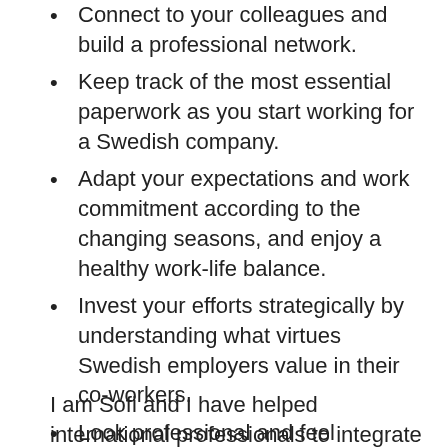Connect to your colleagues and build a professional network.
Keep track of the most essential paperwork as you start working for a Swedish company.
Adapt your expectations and work commitment according to the changing seasons, and enjoy a healthy work-life balance.
Invest your efforts strategically by understanding what virtues Swedish employers value in their co-workers.
Look professional and feel comfortable despite the Nordic weather and climate.
I am Sofi and I have helped international professionals to integrate into the Swedish job